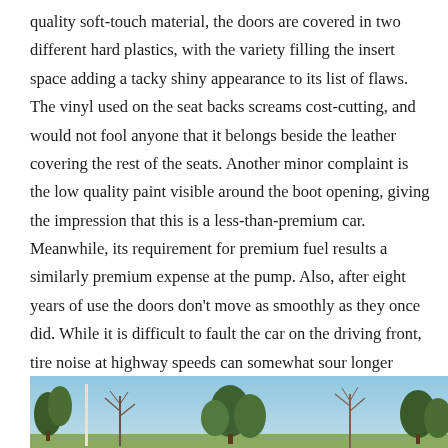quality soft-touch material, the doors are covered in two different hard plastics, with the variety filling the insert space adding a tacky shiny appearance to its list of flaws. The vinyl used on the seat backs screams cost-cutting, and would not fool anyone that it belongs beside the leather covering the rest of the seats. Another minor complaint is the low quality paint visible around the boot opening, giving the impression that this is a less-than-premium car. Meanwhile, its requirement for premium fuel results a similarly premium expense at the pump. Also, after eight years of use the doors don't move as smoothly as they once did. While it is difficult to fault the car on the driving front, tire noise at highway speeds can somewhat sour longer drives.
[Figure (photo): Outdoor photo showing a landscape with trees and a light blue sky, partially visible at the bottom of the page.]